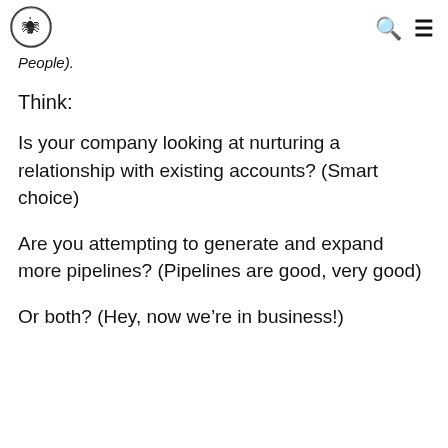[logo] [search icon] [menu icon]
People).
Think:
Is your company looking at nurturing a relationship with existing accounts? (Smart choice)
Are you attempting to generate and expand more pipelines? (Pipelines are good, very good)
Or both? (Hey, now we’re in business!)